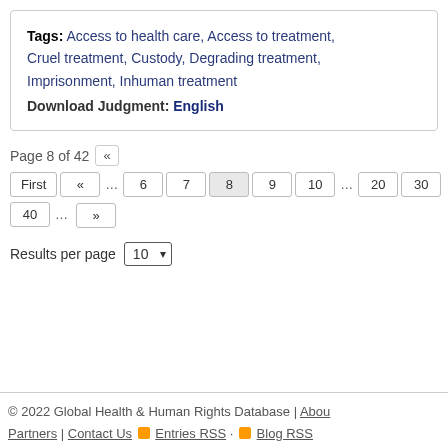Tags: Access to health care, Access to treatment, Cruel treatment, Custody, Degrading treatment, Imprisonment, Inhuman treatment
Download Judgment: English
Page 8 of 42 «
First « … 6 7 8 9 10 … 20 30 40 … »
Results per page 10
© 2022 Global Health & Human Rights Database | About | Partners | Contact Us Entries RSS · Blog RSS